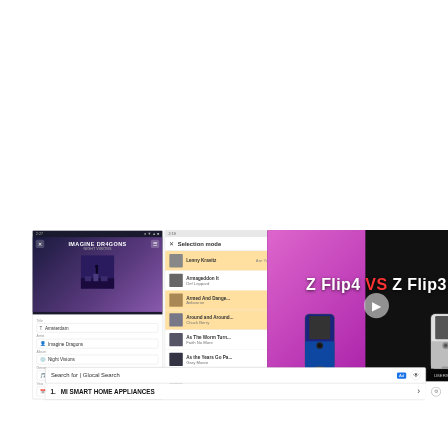[Figure (screenshot): Three mobile app screenshots side by side: (1) Imagine Dragons Night Visions music app showing Amsterdam track with artist and album fields, (2) Selection mode screen listing songs including Armageddon It by Def Leppard, Armed And Dangerous by Airbourne, Around and Around, As The Worm Turns by Faith No More, As the Years Go Past by Gary Moore, Ashes To Ashes, (3) A search/streaming app screen with orange and gray tabs. Overlaid is a video thumbnail showing 'Z Flip4 VS Z Flip3' with phone images. Bottom shows a search bar with 'Search for | Glocal Search' and Ad badge. Below is a result row: '1. MI SMART HOME APPLIANCES' with a chevron.]